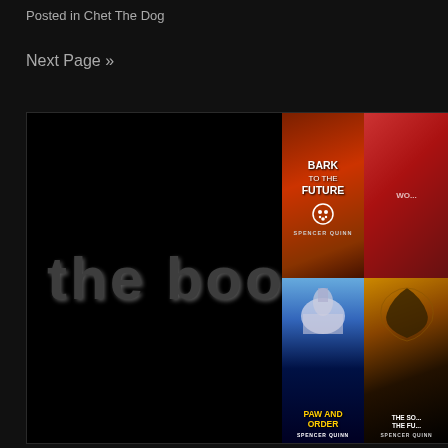Posted in Chet The Dog
Next Page »
[Figure (illustration): Dark black banner image with large grey text 'the books:' on left side, and four book covers on the right: 'Bark to the Future' by Spencer Quinn (top left), a partially visible red book (top right), 'Paw and Order' by Spencer Quinn (bottom left), and 'The Sound and the Fury' or similar by Spencer Quinn (bottom right).]